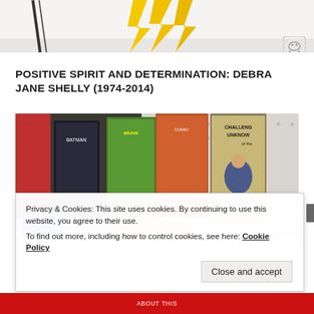[Figure (photo): Partial top image showing yellow lightning bolt shapes on light background, with a small icon/logo in the upper right corner]
POSITIVE SPIRIT AND DETERMINATION: DEBRA JANE SHELLY (1974-2014)
[Figure (photo): Photograph of vintage comic books displayed on a pegboard rack, including 'Challenge of the Unknown' and other superhero comics]
Privacy & Cookies: This site uses cookies. By continuing to use this website, you agree to their use.
To find out more, including how to control cookies, see here: Cookie Policy
Close and accept